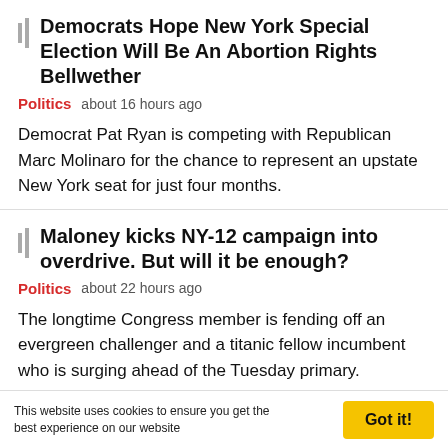Democrats Hope New York Special Election Will Be An Abortion Rights Bellwether
Politics   about 16 hours ago
Democrat Pat Ryan is competing with Republican Marc Molinaro for the chance to represent an upstate New York seat for just four months.
Maloney kicks NY-12 campaign into overdrive. But will it be enough?
Politics   about 22 hours ago
The longtime Congress member is fending off an evergreen challenger and a titanic fellow incumbent who is surging ahead of the Tuesday primary.
This website uses cookies to ensure you get the best experience on our website